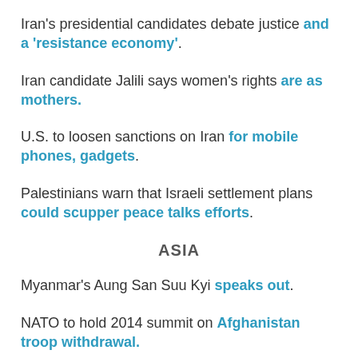Iran's presidential candidates debate justice and a 'resistance economy'.
Iran candidate Jalili says women's rights are as mothers.
U.S. to loosen sanctions on Iran for mobile phones, gadgets.
Palestinians warn that Israeli settlement plans could scupper peace talks efforts.
ASIA
Myanmar's Aung San Suu Kyi speaks out.
NATO to hold 2014 summit on Afghanistan troop withdrawal.
Foreign fighters flow into southern Afghanistan to battle US, allied forces.